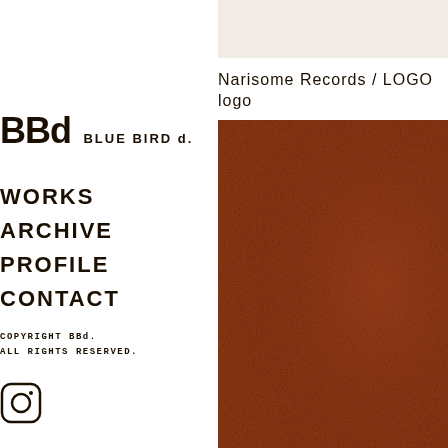BBd BLUE BIRD d.
WORKS
ARCHIVE
PROFILE
CONTACT
COPYRIGHT BBd.
ALL RIGHTS RESERVED.
[Figure (logo): Instagram icon (camera outline with rounded square and circle)]
[Figure (photo): Brown/rust colored texture or surface filling most of the right column]
Narisome Records / LOGO
logo